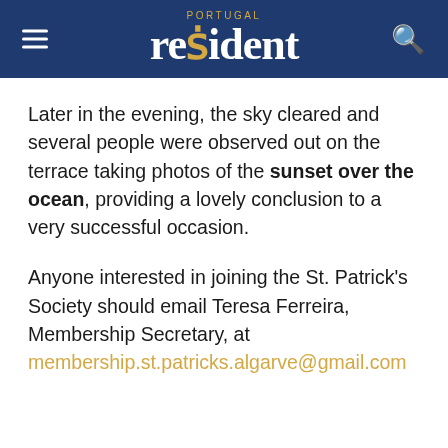PORTUGAL resident
Later in the evening, the sky cleared and several people were observed out on the terrace taking photos of the sunset over the ocean, providing a lovely conclusion to a very successful occasion.
Anyone interested in joining the St. Patrick's Society should email Teresa Ferreira, Membership Secretary, at membership.st.patricks.algarve@gmail.com